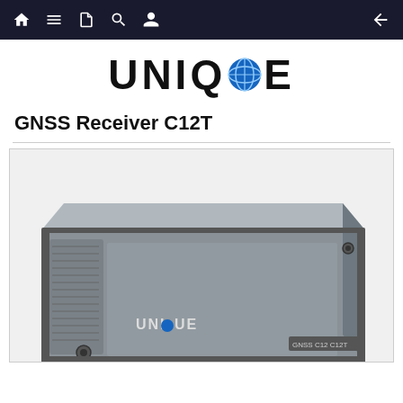Navigation bar with home, menu, document, search, user, and back icons
[Figure (logo): UNIQUE logo with globe icon replacing the letter O]
GNSS Receiver C12T
[Figure (photo): Photo of the UNIQUE GNSS Receiver C12T device — a dark grey rectangular box with UNIQUE branding on the front panel and GNSS C12 text on the right side]